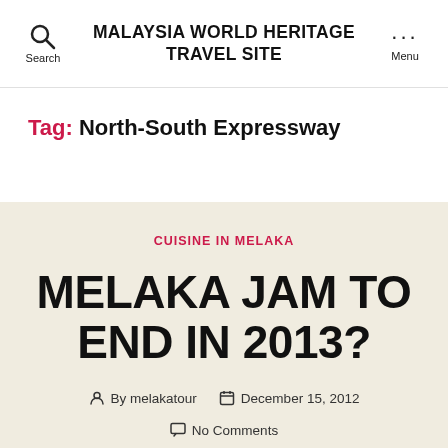MALAYSIA WORLD HERITAGE TRAVEL SITE
Tag: North-South Expressway
CUISINE IN MELAKA
MELAKA JAM TO END IN 2013?
By melakatour   December 15, 2012   No Comments